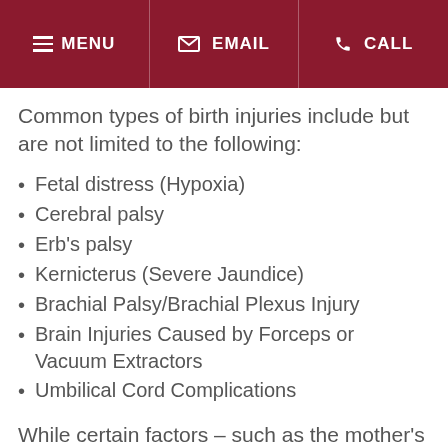MENU  EMAIL  CALL
Common types of birth injuries include but are not limited to the following:
Fetal distress (Hypoxia)
Cerebral palsy
Erb's palsy
Kernicterus (Severe Jaundice)
Brachial Palsy/Brachial Plexus Injury
Brain Injuries Caused by Forceps or Vacuum Extractors
Umbilical Cord Complications
While certain factors – such as the mother's medical history, preexisting conditions and age — make the risk of